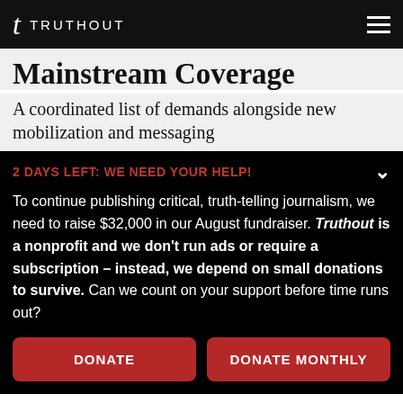t TRUTHOUT
Mainstream Coverage
A coordinated list of demands alongside new mobilization and messaging
2 DAYS LEFT: WE NEED YOUR HELP!
To continue publishing critical, truth-telling journalism, we need to raise $32,000 in our August fundraiser. Truthout is a nonprofit and we don't run ads or require a subscription – instead, we depend on small donations to survive. Can we count on your support before time runs out?
DONATE
DONATE MONTHLY